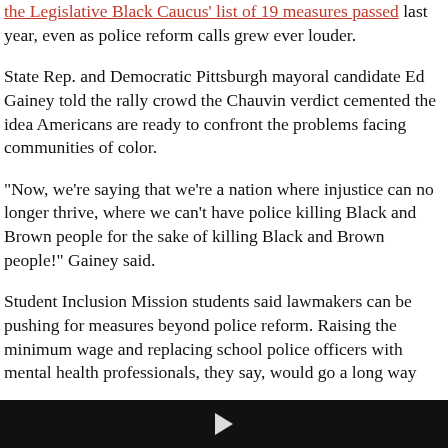the Legislative Black Caucus' list of 19 measures passed last year, even as police reform calls grew ever louder.
State Rep. and Democratic Pittsburgh mayoral candidate Ed Gainey told the rally crowd the Chauvin verdict cemented the idea Americans are ready to confront the problems facing communities of color.
“Now, we’re saying that we’re a nation where injustice can no longer thrive, where we can’t have police killing Black and Brown people for the sake of killing Black and Brown people!” Gainey said.
Student Inclusion Mission students said lawmakers can be pushing for measures beyond police reform. Raising the minimum wage and replacing school police officers with mental health professionals, they say, would go a long way...